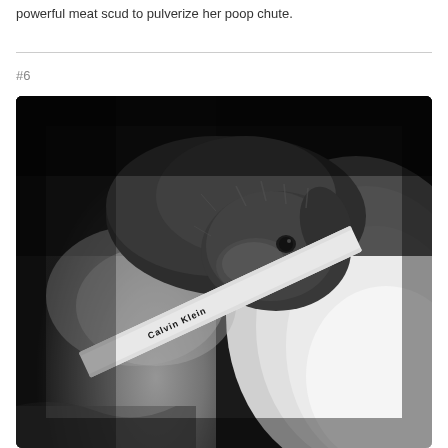powerful meat scud to pulverize her poop chute.
#6
[Figure (photo): Black and white photo of a small fluffy dog (appears to be a Yorkie or similar breed) resting its chin on what appears to be a person's body. The person is wearing Calvin Klein underwear visible in the lower portion of the image. The photo has a dark, moody tone.]